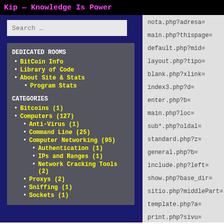Kip — Knowledge Is Power
[Figure (screenshot): Website navigation panel with search box, Dedicated Rooms section with BitCoin Info, Library of Code, About Site & Stats, Program Stats links, and Categories section with Bitcoins (1), Computers (127) and subcategories]
nota.php?adresa=
main.php?thispage=
default.php?mid=
layout.php?tipo=
blank.php?xlink=
index3.php?d=
enter.php?b=
main.php?loc=
sub*.php?oldal=
standard.php?z=
general.php?b=
include.php?left=
show.php?base_dir=
sitio.php?middlePart=
template.php?a=
print.php?sivu=